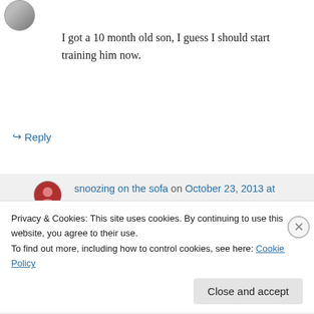I got a 10 month old son, I guess I should start training him now.
↳ Reply
snoozing on the sofa on October 23, 2013 at 9:19 am
Yeah. You’re already four months behind.
Privacy & Cookies: This site uses cookies. By continuing to use this website, you agree to their use.
To find out more, including how to control cookies, see here: Cookie Policy
Close and accept